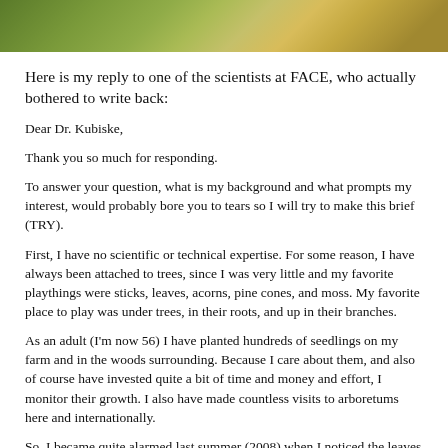[Figure (photo): A nature photograph showing green foliage and a golden/orange element, likely a bird or autumn leaf, against a blurred green background.]
Here is my reply to one of the scientists at FACE, who actually bothered to write back:
Dear Dr. Kubiske,
Thank you so much for responding.
To answer your question, what is my background and what prompts my interest, would probably bore you to tears so I will try to make this brief (TRY).
First, I have no scientific or technical expertise. For some reason, I have always been attached to trees, since I was very little and my favorite playthings were sticks, leaves, acorns, pine cones, and moss. My favorite place to play was under trees, in their roots, and up in their branches.
As an adult (I'm now 56) I have planted hundreds of seedlings on my farm and in the woods surrounding. Because I care about them, and also of course have invested quite a bit of time and money and effort, I monitor their growth. I also have made countless visits to arboretums here and internationally.
So, I became quite alarmed last summer (2008) when I noticed the leaves of trees becoming wilted, droopy,